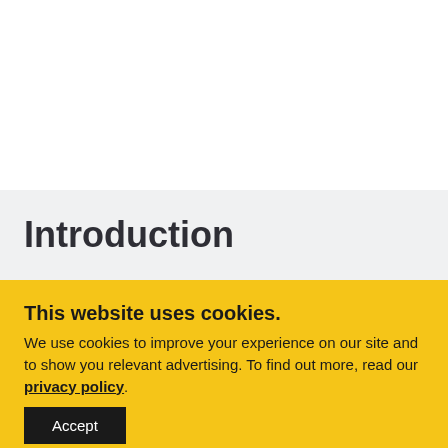Introduction
This website uses cookies. We use cookies to improve your experience on our site and to show you relevant advertising. To find out more, read our privacy policy.
Accept